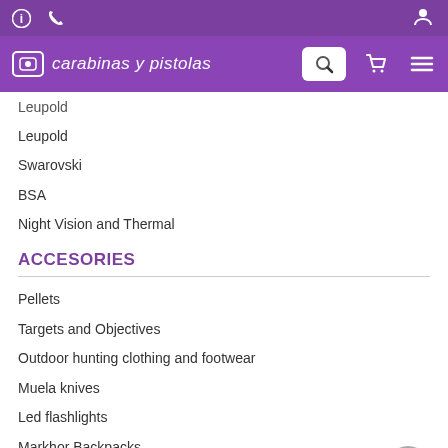carabinas y pistolas — navigation header with search, cart, menu icons
Leupold
Swarovski
BSA
Night Vision and Thermal
ACCESORIES
Pellets
Targets and Objectives
Outdoor hunting clothing and footwear
Muela knives
Led flashlights
Markhor Backpacks
Leatherman
Complete equipment for Stalks
HUNTING